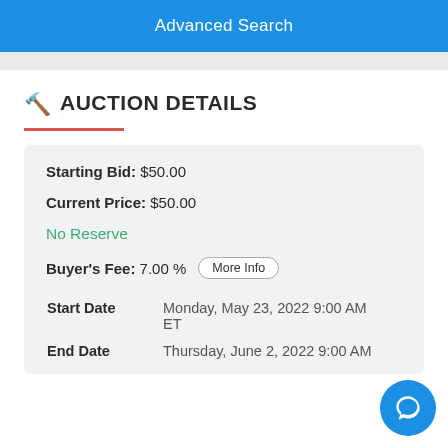Advanced Search
AUCTION DETAILS
Starting Bid: $50.00
Current Price: $50.00
No Reserve
Buyer's Fee: 7.00 %
Start Date   Monday, May 23, 2022 9:00 AM ET
End Date   Thursday, June 2, 2022 9:00 AM